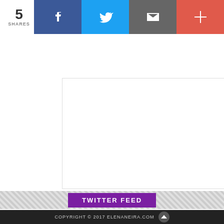[Figure (infographic): Social share bar with count of 5 shares, Facebook, Twitter, email, and plus buttons]
[Figure (other): Advertisement placeholder box (white box with border)]
Search and hit enter...
TWITTER FEED
Elena Neira
@im_kosta @not_a_reptiloid @norpadon @letopisi_rus gracias
COPYRIGHT © 2017 ELENANEIRA.COM